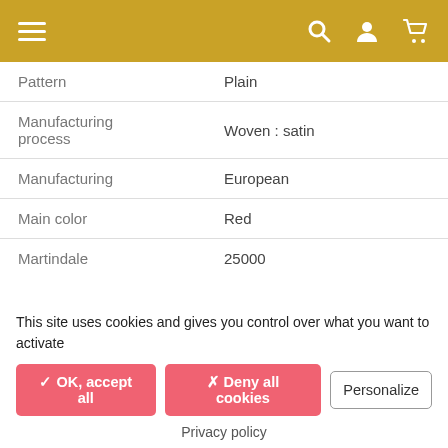Navigation header with menu, search, account, and cart icons
| Property | Value |
| --- | --- |
| Pattern | Plain |
| Manufacturing process | Woven : satin |
| Manufacturing | European |
| Main color | Red |
| Martindale | 25000 |
| Tensile strength | Chaîne 3031N - Trame 1229N |
| Light resistant | 5 |
| Material | Polyester |
|  | Heavy weight |
This site uses cookies and gives you control over what you want to activate
✓ OK, accept all   ✗ Deny all cookies   Personalize
Privacy policy